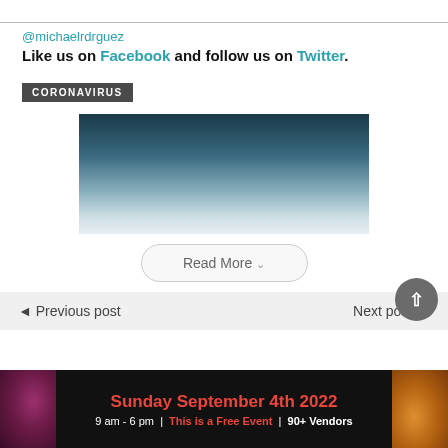@michaelrdrguez
Like us on Facebook and follow us on Twitter.
CORONAVIRUS
[Figure (photo): Dark blue to light gradient image, possibly a stock photo background]
Read More
◄ Previous post   Next post ►
[Figure (infographic): Advertisement banner: Sunday September 4th 2022, 9 am - 6 pm | This is a Free Event | 90+ Vendors]